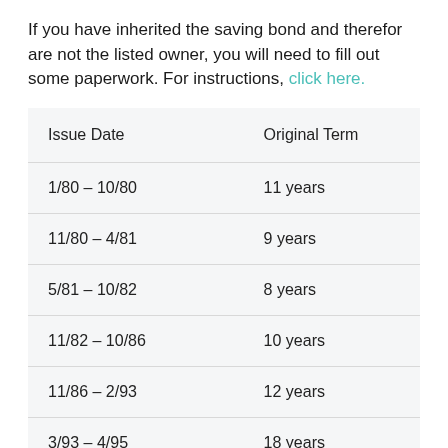If you have inherited the saving bond and therefor are not the listed owner, you will need to fill out some paperwork. For instructions, click here.
| Issue Date | Original Term |
| --- | --- |
| 1/80 – 10/80 | 11 years |
| 11/80 – 4/81 | 9 years |
| 5/81 – 10/82 | 8 years |
| 11/82 – 10/86 | 10 years |
| 11/86 – 2/93 | 12 years |
| 3/93 – 4/95 | 18 years |